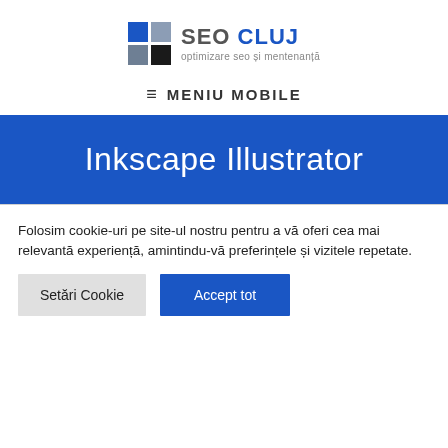[Figure (logo): SEO Cluj logo with blue, gray and black grid squares, text 'SEO CLUJ optimizare seo și mentenanță']
≡  MENIU MOBILE
Inkscape Illustrator
Folosim cookie-uri pe site-ul nostru pentru a vă oferi cea mai relevantă experiență, amintindu-vă preferințele și vizitele repetate.
Setări Cookie
Accept tot